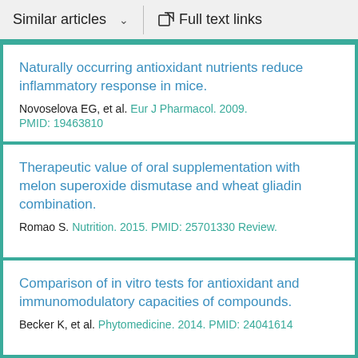Similar articles   Full text links
Naturally occurring antioxidant nutrients reduce inflammatory response in mice.
Novoselova EG, et al. Eur J Pharmacol. 2009.
PMID: 19463810
Therapeutic value of oral supplementation with melon superoxide dismutase and wheat gliadin combination.
Romao S. Nutrition. 2015. PMID: 25701330 Review.
Comparison of in vitro tests for antioxidant and immunomodulatory capacities of compounds.
Becker K, et al. Phytomedicine. 2014. PMID: 24041614